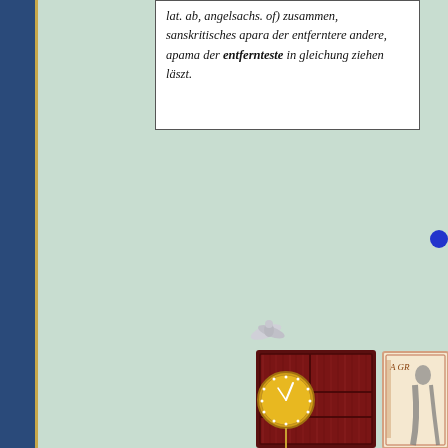lat. ab, angelsachs. of) zusammen, sanskritisches apara der entferntere andere, apama der entfernteste in gleichung ziehen läszt.
[Figure (illustration): A grandfather clock with dark wood casing, gold clock face with white dots, pendulum, decorative bird ornament on top, shown against a light mint-green textured background. Partial view of an illustrated book cover showing 'A GR...' text and a figure with flowing robes on the right side.]